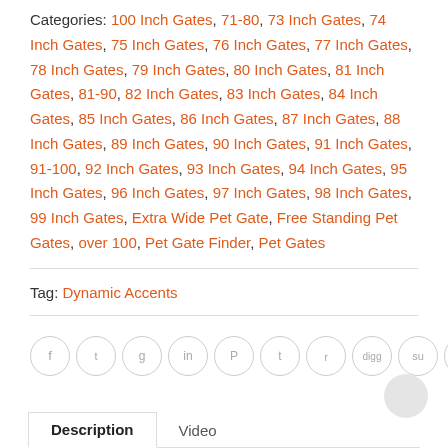Categories: 100 Inch Gates, 71-80, 73 Inch Gates, 74 Inch Gates, 75 Inch Gates, 76 Inch Gates, 77 Inch Gates, 78 Inch Gates, 79 Inch Gates, 80 Inch Gates, 81 Inch Gates, 81-90, 82 Inch Gates, 83 Inch Gates, 84 Inch Gates, 85 Inch Gates, 86 Inch Gates, 87 Inch Gates, 88 Inch Gates, 89 Inch Gates, 90 Inch Gates, 91 Inch Gates, 91-100, 92 Inch Gates, 93 Inch Gates, 94 Inch Gates, 95 Inch Gates, 96 Inch Gates, 97 Inch Gates, 98 Inch Gates, 99 Inch Gates, Extra Wide Pet Gate, Free Standing Pet Gates, over 100, Pet Gate Finder, Pet Gates
Tag: Dynamic Accents
[Figure (infographic): Row of social media sharing icon circles: Facebook, Twitter, Google+, LinkedIn, Pinterest, Tumblr, Reddit, Digg, StumbleUpon, Email]
Description | Video tabs